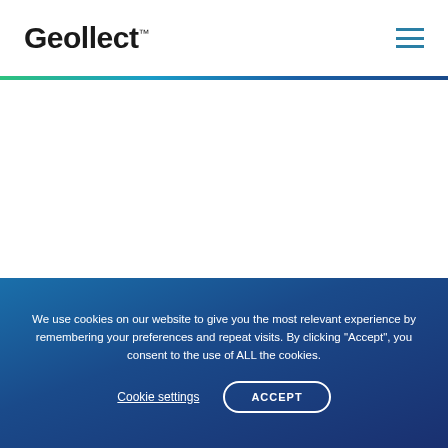Geollect™
We use cookies on our website to give you the most relevant experience by remembering your preferences and repeat visits. By clicking "Accept", you consent to the use of ALL the cookies.
Cookie settings
ACCEPT